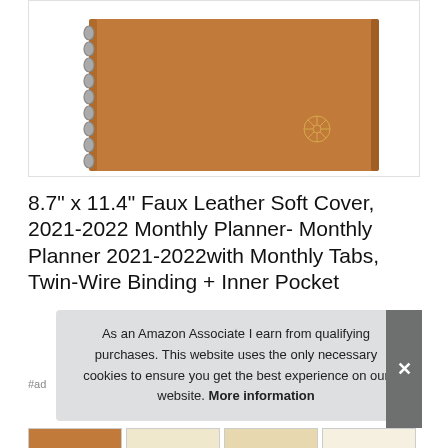[Figure (photo): Brown faux leather planner/notebook with twin-wire binding on the left side and a small circular gold logo embossed in the lower right corner, shown against a white background with a thin border.]
8.7" x 11.4" Faux Leather Soft Cover, 2021-2022 Monthly Planner- Monthly Planner 2021-2022with Monthly Tabs, Twin-Wire Binding + Inner Pocket
#ad
As an Amazon Associate I earn from qualifying purchases. This website uses the only necessary cookies to ensure you get the best experience on our website. More information